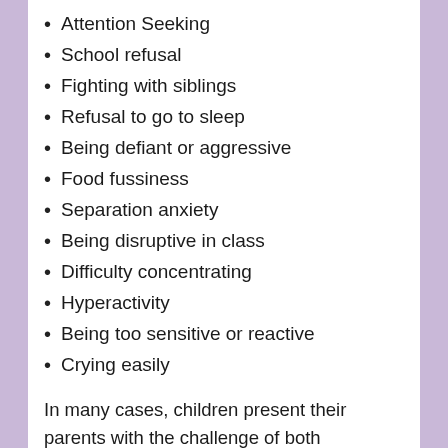Attention Seeking
School refusal
Fighting with siblings
Refusal to go to sleep
Being defiant or aggressive
Food fussiness
Separation anxiety
Being disruptive in class
Difficulty concentrating
Hyperactivity
Being too sensitive or reactive
Crying easily
In many cases, children present their parents with the challenge of both emotional and behavioural difficulties, simultaneously. This can be particularly complex for parents to